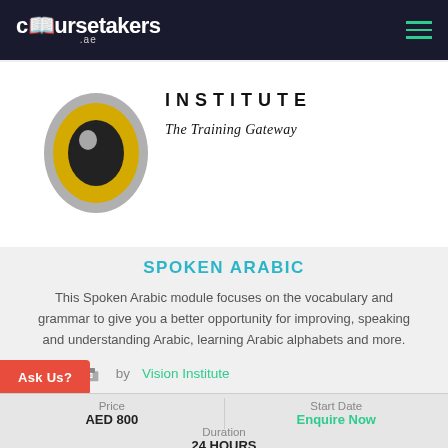coursetakers .ae
[Figure (logo): Vision Institute logo with concentric circles in yellow, grey and black, and text 'INSTITUTE - The Training Gateway']
SPOKEN ARABIC
This Spoken Arabic module focuses on the vocabulary and grammar to give you a better opportunity for improving, speaking and understanding Arabic, learning Arabic alphabets and more.
by Vision Institute
| Price | Start Date |
| --- | --- |
| AED 800 | Enquire Now |
| Duration |
| --- |
| 24 HOURS |